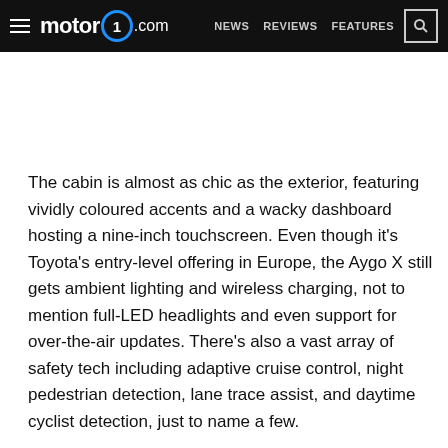motor1.com  NEWS  REVIEWS  FEATURES
The cabin is almost as chic as the exterior, featuring vividly coloured accents and a wacky dashboard hosting a nine-inch touchscreen. Even though it's Toyota's entry-level offering in Europe, the Aygo X still gets ambient lighting and wireless charging, not to mention full-LED headlights and even support for over-the-air updates. There's also a vast array of safety tech including adaptive cruise control, night pedestrian detection, lane trace assist, and daytime cyclist detection, just to name a few.